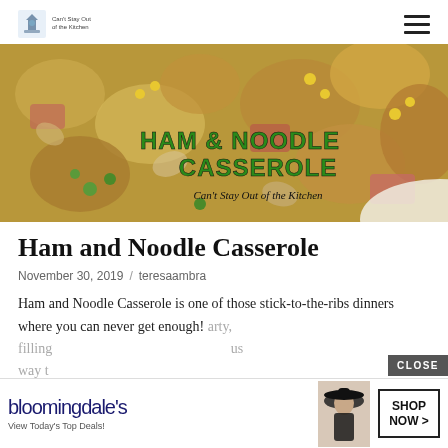Can't Stay Out of the Kitchen [logo]
[Figure (photo): Close-up photo of ham and noodle casserole with rotini pasta, corn, peas, and ham pieces. Overlaid text reads 'HAM & NOODLE CASSEROLE' in green bold letters, and below 'Can't Stay Out of the Kitchen' in italic script.]
Ham and Noodle Casserole
November 30, 2019  /  teresaambra
Ham and Noodle Casserole is one of those stick-to-the-ribs dinners where you can never get enough!  arty, filling  us way t
[Figure (advertisement): Bloomingdale's advertisement banner: 'View Today's Top Deals!' with a woman in a hat and 'SHOP NOW >' button. Has a CLOSE button overlay.]